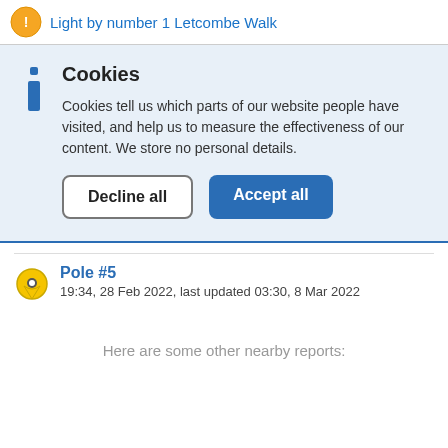Light by number 1 Letcombe Walk
Cookies
Cookies tell us which parts of our website people have visited, and help us to measure the effectiveness of our content. We store no personal details.
Decline all
Accept all
Pole #5
19:34, 28 Feb 2022, last updated 03:30, 8 Mar 2022
Here are some other nearby reports: